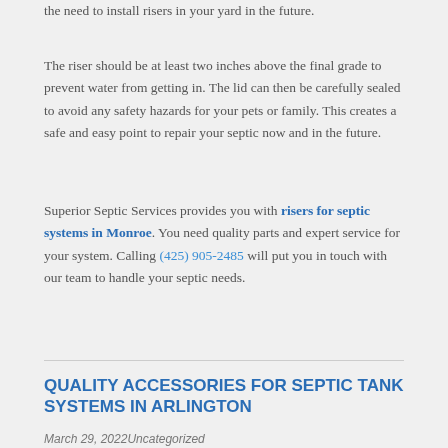the need to install risers in your yard in the future.
The riser should be at least two inches above the final grade to prevent water from getting in. The lid can then be carefully sealed to avoid any safety hazards for your pets or family. This creates a safe and easy point to repair your septic now and in the future.
Superior Septic Services provides you with risers for septic systems in Monroe. You need quality parts and expert service for your system. Calling (425) 905-2485 will put you in touch with our team to handle your septic needs.
QUALITY ACCESSORIES FOR SEPTIC TANK SYSTEMS IN ARLINGTON
March 29, 2022Uncategorized